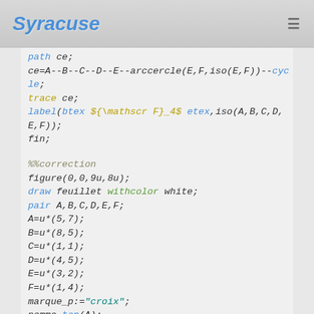Syracuse
path ce;
ce=A--B--C--D--E--arccercle(E,F,iso(E,F))--cycle;
trace ce;
label(btex ${\mathscr F}_4$ etex,iso(A,B,C,D,E,F));
fin;

%%correction
figure(0,0,9u,8u);
draw feuillet withcolor white;
pair A,B,C,D,E,F;
A=u*(5,7);
B=u*(8,5);
C=u*(1,1);
D=u*(4,5);
E=u*(3,2);
F=u*(1,4);
marque_p:="croix";
nomme.top(A);
nomme.top(B);
nomme.top(C);